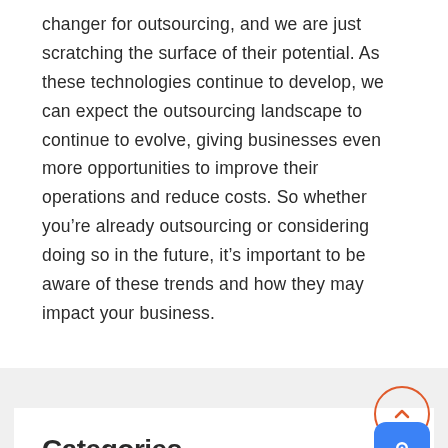changer for outsourcing, and we are just scratching the surface of their potential. As these technologies continue to develop, we can expect the outsourcing landscape to continue to evolve, giving businesses even more opportunities to improve their operations and reduce costs. So whether you’re already outsourcing or considering doing so in the future, it’s important to be aware of these trends and how they may impact your business.
Categories